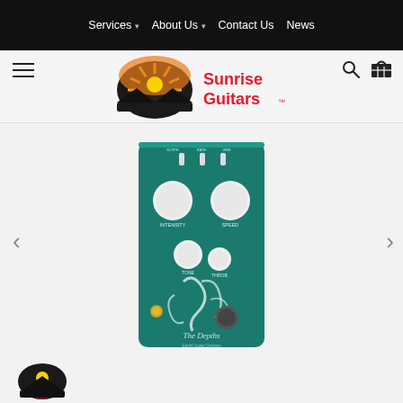Services ▾   About Us ▾   Contact Us   News
[Figure (logo): Sunrise Guitars logo with sunburst guitar body graphic and red text 'Sunrise Guitars']
[Figure (photo): EarthQuaker Devices 'The Depths' optical vibe guitar effects pedal in teal/green color with white knobs and octopus artwork]
[Figure (logo): Small Sunrise Guitars thumbnail logo]